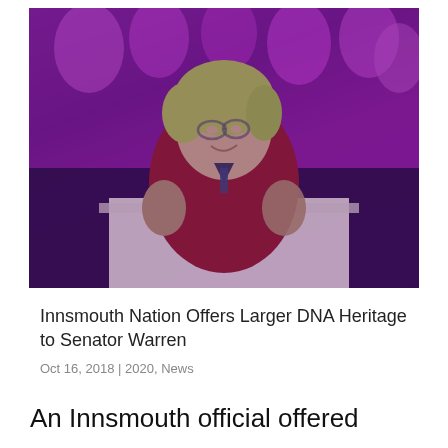[Figure (photo): A woman with short blonde hair and glasses standing at a podium, photo has a purple/magenta color tint overlay]
Innsmouth Nation Offers Larger DNA Heritage to Senator Warren
Oct 16, 2018 | 2020, News
An Innsmouth official offered genetic assistance to Senator Elizabeth